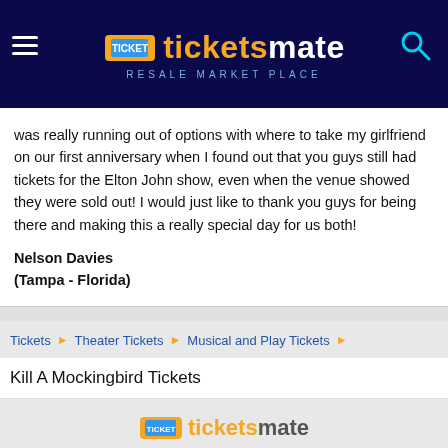TicketsMate - Resale Market Place
was really running out of options with where to take my girlfriend on our first anniversary when I found out that you guys still had tickets for the Elton John show, even when the venue showed they were sold out! I would just like to thank you guys for being there and making this a really special day for us both!
Nelson Davies (Tampa - Florida)
Tickets ▶ Theater Tickets ▶ Musical and Play Tickets ▶
Kill A Mockingbird Tickets
© 2009 - 2022 www.ticketsmate.com  Policies  Blog